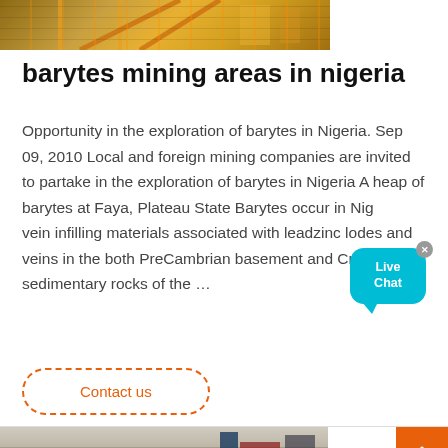[Figure (photo): Industrial mining equipment photo at top of page, showing yellow metal structures and orange/brown materials]
barytes mining areas in nigeria
Opportunity in the exploration of barytes in Nigeria. Sep 09, 2010 Local and foreign mining companies are invited to partake in the exploration of barytes in Nigeria A heap of barytes at Faya, Plateau State Barytes occur in Nigeria as vein infilling materials associated with leadzinc lodes and veins in the both PreCambrian basement and Cretaceous sedimentary rocks of the …
[Figure (other): Live Chat bubble widget with cyan/teal color and close button]
Contact us
[Figure (photo): Outdoor mining or construction site ground-level photo at bottom of page]